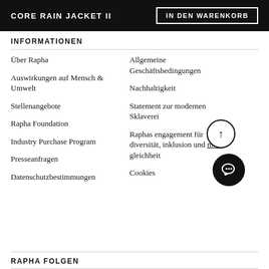CORE RAIN JACKET II
IN DEN WARENKORB
INFORMATIONEN
Über Rapha
Allgemeine Geschäftsbedingungen
Auswirkungen auf Mensch & Umwelt
Nachhaltigkeit
Stellenangebote
Statement zur modernen Sklaverei
Rapha Foundation
Raphas engagement für diversität, inklusion und mehr gleichheit
Industry Purchase Program
Cookies
Presseanfragen
Datenschutzbestimmungen
RAPHA FOLGEN